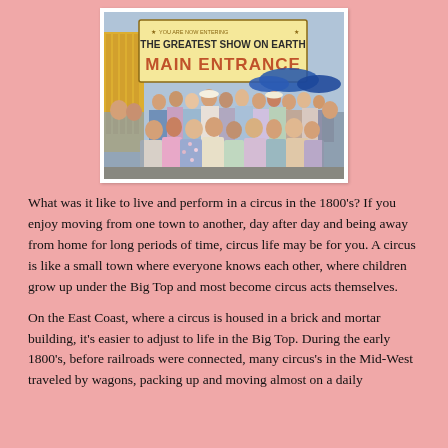[Figure (photo): Vintage color photograph of a large crowd of people entering a circus through the 'Main Entrance' gate. A large banner reads 'YOU ARE NOW ENTERING THE GREATEST SHOW ON EARTH MAIN ENTRANCE'. The crowd includes men, women, and children in 1940s–1950s era clothing.]
What was it like to live and perform in a circus in the 1800's? If you enjoy moving from one town to another, day after day and being away from home for long periods of time, circus life may be for you. A circus is like a small town where everyone knows each other, where children grow up under the Big Top and most become circus acts themselves.
On the East Coast, where a circus is housed in a brick and mortar building, it's easier to adjust to life in the Big Top. During the early 1800's, before railroads were connected, many circus's in the Mid-West traveled by wagons, packing up and moving almost on a daily